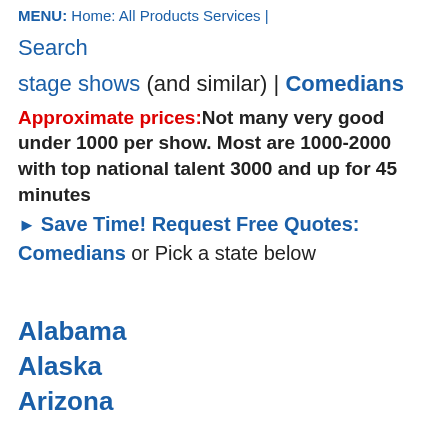MENU: Home: All Products Services | Search
stage shows (and similar) | Comedians
Approximate prices: Not many very good under 1000 per show. Most are 1000-2000 with top national talent 3000 and up for 45 minutes
▶ Save Time! Request Free Quotes: Comedians or Pick a state below
Alabama
Alaska
Arizona